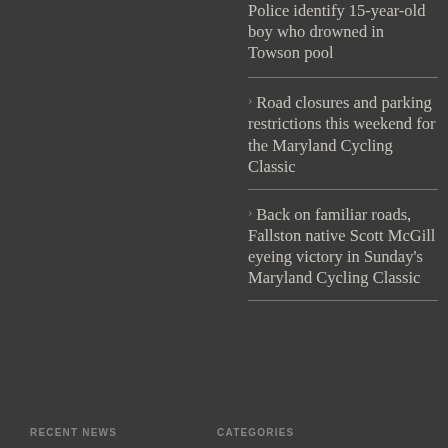Police identify 15-year-old boy who drowned in Towson pool
Road closures and parking restrictions this weekend for the Maryland Cycling Classic
Back on familiar roads, Fallston native Scott McGill eyeing victory in Sunday's Maryland Cycling Classic
RECENT NEWS
CATEGORIES